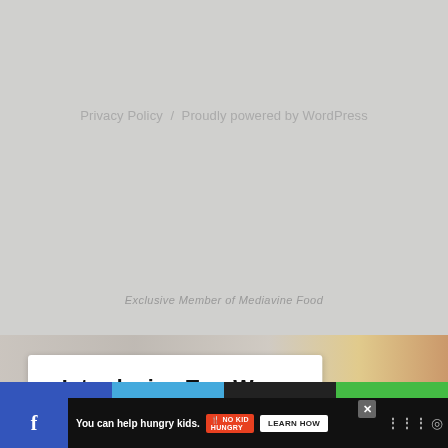Privacy Policy  /  Proudly powered by WordPress
Exclusive Member of Mediavine Food
[Figure (infographic): Advertisement card: Introducing Two Ways to Shop for Services. Add a pre-packaged service right to your cart or customize your project. Learn More button. Pre-packaged and Custom options shown at bottom.]
You can help hungry kids.  NO KID HUNGRY  LEARN HOW